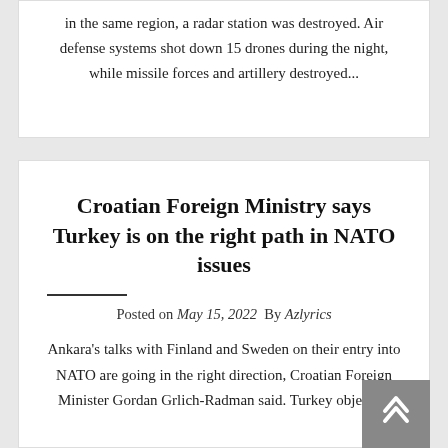in the same region, a radar station was destroyed. Air defense systems shot down 15 drones during the night, while missile forces and artillery destroyed...
Croatian Foreign Ministry says Turkey is on the right path in NATO issues
Posted on May 15, 2022  By Azlyrics
Ankara's talks with Finland and Sweden on their entry into NATO are going in the right direction, Croatian Foreign Minister Gordan Grlich-Radman said. Turkey objects...